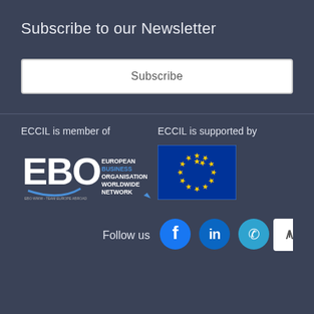Subscribe to our Newsletter
Subscribe
ECCIL is member of
[Figure (logo): EBO European Business Organisation Worldwide Network logo with tagline EBO WWW - TEAM EUROPE ABROAD]
ECCIL is supported by
[Figure (logo): European Union flag - circle of gold stars on blue background]
Follow us
[Figure (other): Social media icons: Facebook, LinkedIn, Phone, and back-to-top arrow button]